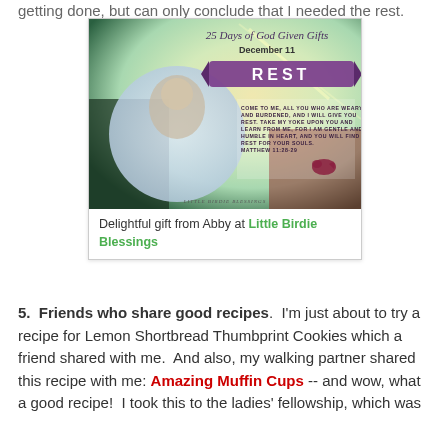getting done, but can only conclude that I needed the rest.
[Figure (illustration): Decorative inspirational image: '25 Days of God Given Gifts, December 11, REST' with Bible verse Matthew 11:28-29, featuring a painted angel/child, colorful background, bird silhouette, and Little Birdie Blessings watermark.]
Delightful gift from Abby at Little Birdie Blessings
5. Friends who share good recipes. I'm just about to try a recipe for Lemon Shortbread Thumbprint Cookies which a friend shared with me. And also, my walking partner shared this recipe with me: Amazing Muffin Cups -- and wow, what a good recipe! I took this to the ladies' fellowship, which was